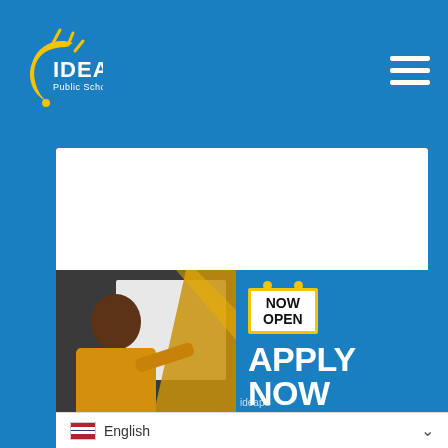[Figure (logo): IDEA Public Schools logo — yellow sun/star shape with crescent, white text 'IDEA Public Schools']
[Figure (other): Hamburger menu icon (three white horizontal lines) in upper right]
Challenging in the Nation
READ MORE »
[Figure (photo): Banner advertisement: photo of a Black woman teacher in yellow jacket pointing at a whiteboard, overlaid with 'NOW OPEN' badge and 'APPLY NOW – OUR STAFF APPLICATION IS LIVE!' text on blue background]
ideapu...
English  ∨